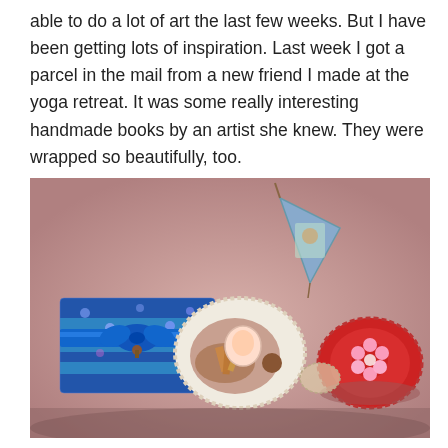able to do a lot of art the last few weeks. But I have been getting lots of inspiration. Last week I got a parcel in the mail from a new friend I made at the yoga retreat. It was some really interesting handmade books by an artist she knew. They were wrapped so beautifully, too.
[Figure (photo): Photograph of beautifully wrapped handmade books and craft items laid out on a pink/rose-colored fabric background. Items include a blue floral fabric-wrapped book with a blue satin ribbon, a round lace-edged item with decorative contents, a triangular pennant-style item, and a round red velvet item with a floral embellishment.]